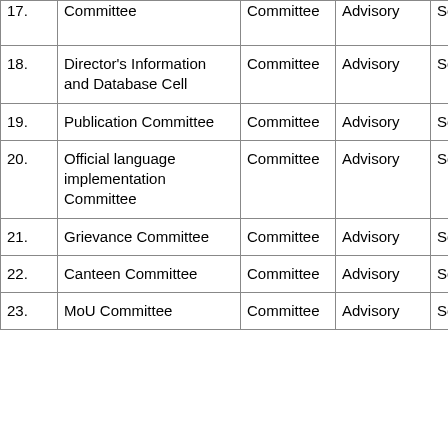| # | Name | Type | Role | Members |
| --- | --- | --- | --- | --- |
| 17. | Committee | Committee | Advisory | Scientists |
| 18. | Director's Information and Database Cell | Committee | Advisory | Scientists |
| 19. | Publication Committee | Committee | Advisory | Scientists |
| 20. | Official language implementation Committee | Committee | Advisory | Scientists |
| 21. | Grievance Committee | Committee | Advisory | Scientists |
| 22. | Canteen Committee | Committee | Advisory | Scientists |
| 23. | MoU Committee | Committee | Advisory | Scientists |